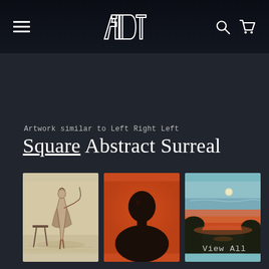ADT logo, hamburger menu, search icon, cart icon
Artwork similar to Left Right Left
Square Abstract Surreal
[Figure (illustration): Three artwork thumbnails side by side: (1) a pencil sketch of a figure in desert/sandy setting on beige background, (2) an orange/red painting with a dark silhouetted face/portrait, (3) a landscape painting with teal sky and red/orange sunset horizon]
View All